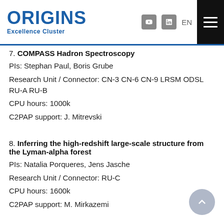ORIGINS Excellence Cluster
7. COMPASS Hadron Spectroscopy
PIs: Stephan Paul, Boris Grube
Research Unit / Connector: CN-3 CN-6 CN-9 LRSM ODSL RU-A RU-B
CPU hours: 1000k
C2PAP support: J. Mitrevski
8. Inferring the high-redshift large-scale structure from the Lyman-alpha forest
PIs: Natalia Porqueres, Jens Jasche
Research Unit / Connector: RU-C
CPU hours: 1600k
C2PAP support: M. Mirkazemi